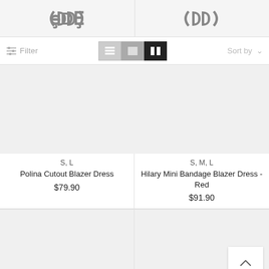[Figure (logo): Double-D logo (stylized parentheses and D shapes) shown twice side by side in header]
Filter | Sort by
[Figure (screenshot): Product image placeholder (gray) for Polina Cutout Blazer Dress]
S, L
Polina Cutout Blazer Dress
$79.90
[Figure (screenshot): Product image placeholder (gray) for Hilary Mini Bandage Blazer Dress - Red]
S, M, L
Hilary Mini Bandage Blazer Dress - Red
$91.90
[Figure (photo): Gray placeholder image bottom left]
[Figure (photo): Gray placeholder image bottom right]